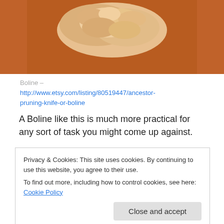[Figure (photo): A photograph of a rock or stone object on an orange-brown wooden surface, cropped at top showing only the upper portion.]
Boline – http://www.etsy.com/listing/80519447/ancestor-pruning-knife-or-boline
A Boline like this is much more practical for any sort of task you might come up against.
The use of the Boline shows up in traditional training and it's not something that you usually find in books. Because
Privacy & Cookies: This site uses cookies. By continuing to use this website, you agree to their use.
To find out more, including how to control cookies, see here: Cookie Policy
primarily for gardening and the White Handled Knife for